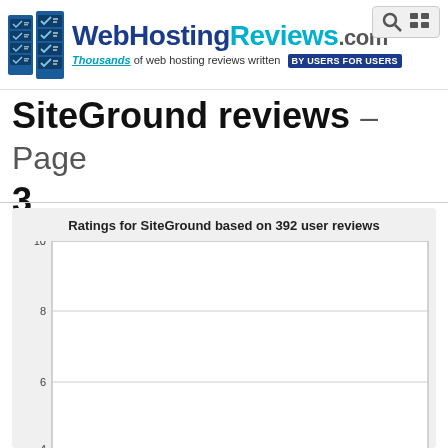[Figure (logo): WebHostingReviews.com logo with server icon, text 'WebHostingReviews.com' and tagline 'Thousands of web hosting reviews written BY USERS FOR USERS']
SiteGround reviews – Page 3
[Figure (bar-chart): Bar chart showing ratings for SiteGround based on 392 user reviews, y-axis from 4 to 10, partially visible]